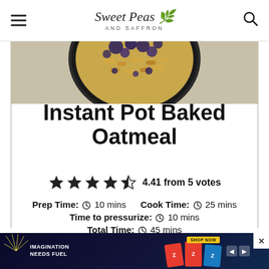Sweet Peas and Saffron
[Figure (photo): Top portion of a bowl of Instant Pot Baked Oatmeal with blueberries and granola, viewed from above, on a dark bowl]
Instant Pot Baked Oatmeal
4.41 from 5 votes
Prep Time: 10 mins  Cook Time: 25 mins  Time to pressurize: 10 mins  Total Time: 45 mins
[Figure (screenshot): Advertisement banner: IMAGINATION NEEDS FUEL - Z Bar product advertisement with Shop Now button]